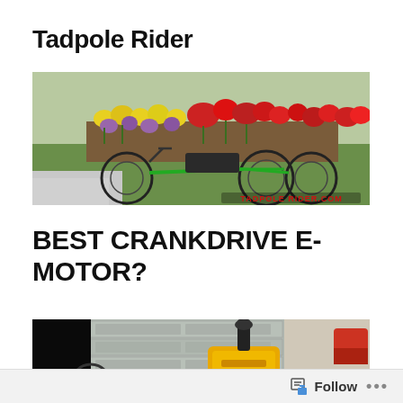Tadpole Rider
[Figure (photo): A green tadpole trike (recumbent three-wheeled bicycle) parked on a path in front of colorful tulip flower beds (red, yellow, purple) with lawn in background. A watermark reads TADPOLE RIDER.COM in red text at bottom right.]
BEST CRANKDRIVE E-MOTOR?
[Figure (photo): Partial view of a yellow and black motorized device or electric motor, set in front of a garage door, partially cut off at the bottom of the page.]
Follow ...